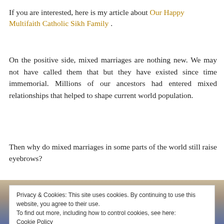If you are interested, here is my article about Our Happy Multifaith Catholic Sikh Family .
On the positive side, mixed marriages are nothing new. We may not have called them that but they have existed since time immemorial. Millions of our ancestors had entered mixed relationships that helped to shape current world population.
Then why do mixed marriages in some parts of the world still raise eyebrows?
[Figure (photo): Photo strip of jewelry/decorative items partially visible behind cookie consent banner]
Privacy & Cookies: This site uses cookies. By continuing to use this website, you agree to their use. To find out more, including how to control cookies, see here: Cookie Policy   Close and accept